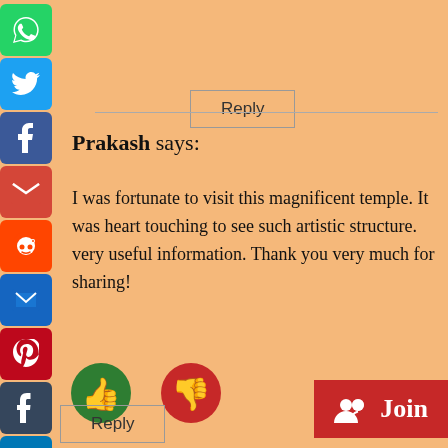[Figure (screenshot): Social media sharing sidebar with icons: WhatsApp (green), Twitter (blue), Facebook (blue), Gmail (red), Reddit (orange), Email (blue), Pinterest (red), Tumblr (dark), LinkedIn (blue), Share (blue)]
Reply
Prakash says:
I was fortunate to visit this magnificent temple. It was heart touching to see such artistic structure. very useful information. Thank you very much for sharing!
[Figure (illustration): Green thumbs up circle button and red thumbs down circle button]
Reply
[Figure (illustration): Red Join button with group/people icon]